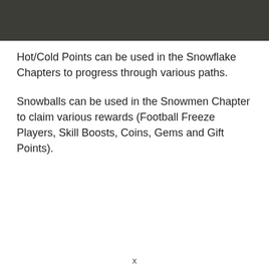[Figure (other): Dark grey/charcoal rectangular banner at the top of the page]
Hot/Cold Points can be used in the Snowflake Chapters to progress through various paths.
Snowballs can be used in the Snowmen Chapter to claim various rewards (Football Freeze Players, Skill Boosts, Coins, Gems and Gift Points).
x